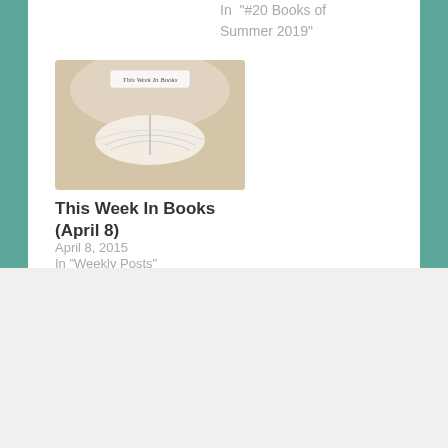In "#20 Books of Summer 2019"
[Figure (photo): Book open on grass with 'This Week In Books' banner overlay]
This Week In Books (April 8)
April 8, 2015
In "Weekly Posts"
[Figure (photo): Circular portrait photo of a woman smiling]
Author: cleopatralovesbooks
A book lover who clearly has issues as obsessed with